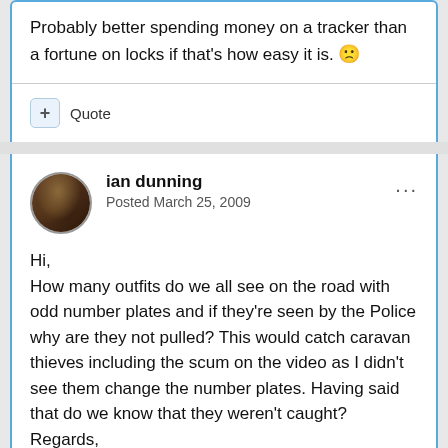Probably better spending money on a tracker than a fortune on locks if that's how easy it is. 🙁
+ Quote
ian dunning
Posted March 25, 2009
Hi,
How many outfits do we all see on the road with odd number plates and if they're seen by the Police why are they not pulled? This would catch caravan thieves including the scum on the video as I didn't see them change the number plates. Having said that do we know that they weren't caught?
Regards,